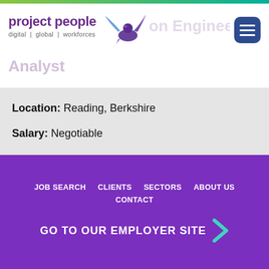[Figure (logo): Project People logo with bird/eagle graphic and tagline 'digital | global | workforces']
Senior Transmission Engineering Data Analyst
Location: Reading, Berkshire
Salary: Negotiable
[Figure (illustration): Blue right-pointing arrow]
JOB SEARCH   CLIENTS   SECTORS   ABOUT US   CONTACT
GO TO OUR EMPLOYER SITE >